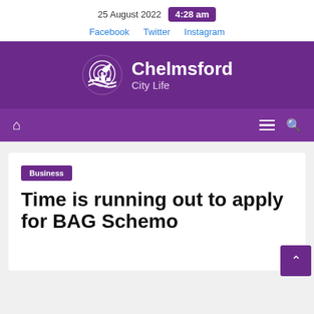25 August 2022  4:28 am
Facebook  Twitter  Instagram
[Figure (logo): Chelmsford City Life logo with circular leaf/wave emblem on purple background]
Home icon  Hamburger menu  Search icon
Business
Time is running out to apply for BAG Scheme